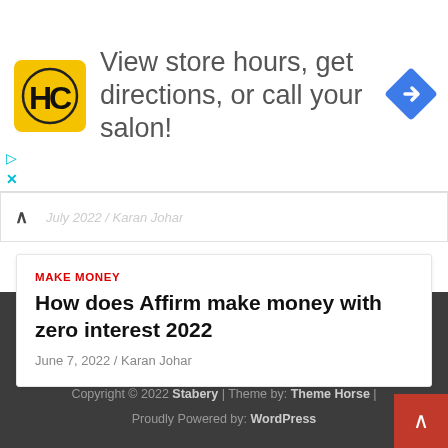[Figure (screenshot): Advertisement banner: HC logo (yellow square with black HC letters), text 'View store hours, get directions, or call your salon!', blue diamond navigation icon on the right. Small play and close buttons on the left side.]
View store hours, get directions, or call your salon!
▲
MAKE MONEY
How does Affirm make money with zero interest 2022
June 7, 2022 / Karan Johar
Copyright © 2022 Stabery  |  Theme by: Theme Horse  |  Proudly Powered by: WordPress